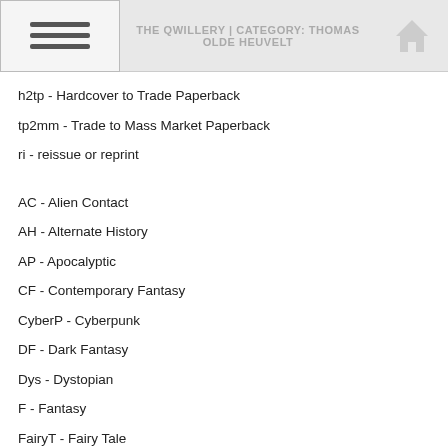THE QWILLERY | CATEGORY: THOMAS OLDE HEUVELT
h2tp - Hardcover to Trade Paperback
tp2mm - Trade to Mass Market Paperback
ri - reissue or reprint
AC - Alien Contact
AH - Alternate History
AP - Apocalyptic
CF - Contemporary Fantasy
CyberP - Cyberpunk
DF - Dark Fantasy
Dys - Dystopian
F - Fantasy
FairyT - Fairy Tale
FolkT - Folk Tale
FR - Fantasy Romance
GB - Genre Bender